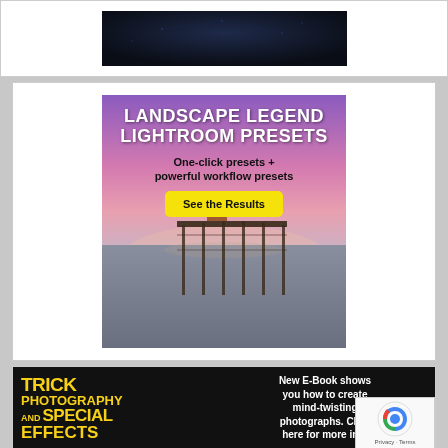[Figure (screenshot): Dark blue/black background image strip at top of page]
[Figure (illustration): Landscape Legend Lightroom Presets advertisement showing a pier at sunset with purple/pink sky. White bold text reads 'LANDSCAPE LEGEND LIGHTROOM PRESETS', black text 'One-click presets + powerful workflow presets', yellow button 'See the Results']
[Figure (illustration): Trick Photography and Special Effects advertisement. Left side has yellow text on black background reading 'TRICK PHOTOGRAPHY AND SPECIAL EFFECTS'. Right side white text on black: 'New E-Book shows you how to create mind-twisting photographs. Click here for more info']